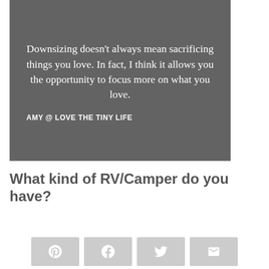[Figure (infographic): Dark gray quote box with white text containing a quote about downsizing and an attribution to Amy @ Love The Tiny Life]
What kind of RV/Camper do you have?
2007 Sunset Creek Travel
[Figure (infographic): Social sharing bar with Pinterest, Facebook, Twitter, and Email buttons]